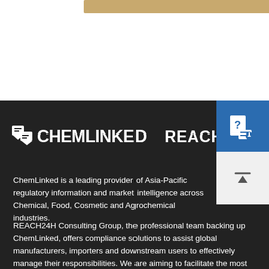[Figure (logo): Tan/gold horizontal bar at top of page]
[Figure (logo): ChemLinked and REACH24H logos on dark background]
ChemLinked is a leading provider of Asia-Pacific regulatory information and market intelligence across Chemical, Food, Cosmetic and Agrochemical industries.
REACH24H Consulting Group, the professional team backing up ChemLinked, offers compliance solutions to assist global manufacturers, importers and downstream users to effectively manage their responsibilities. We are aiming to facilitate the most efficient and cost-effective access to the marketplace for our clients' products.